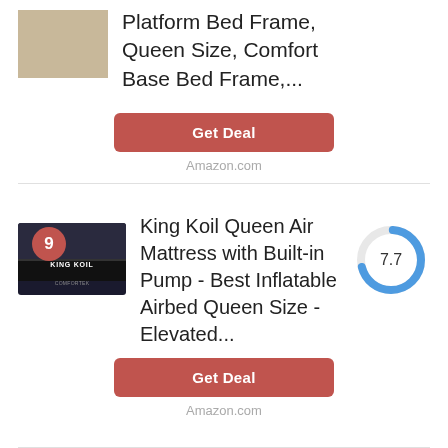[Figure (photo): Product image of a platform bed frame with wooden floor background]
Platform Bed Frame, Queen Size, Comfort Base Bed Frame,...
Get Deal
Amazon.com
[Figure (photo): Product image of King Koil air mattress on dark background with King Koil logo]
King Koil Queen Air Mattress with Built-in Pump - Best Inflatable Airbed Queen Size - Elevated...
[Figure (donut-chart): Score 7.7]
Get Deal
Amazon.com